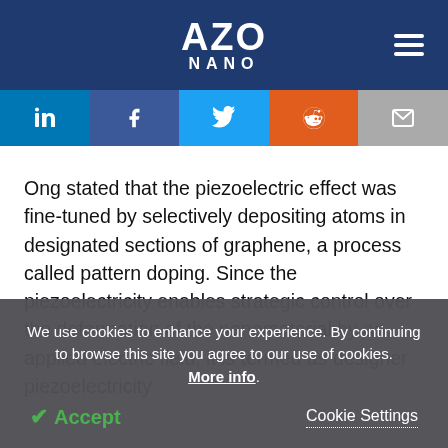AZO NANO
[Figure (infographic): Social sharing buttons: LinkedIn, Facebook, Twitter, Reddit, Email]
Ong stated that the piezoelectric effect was fine-tuned by selectively depositing atoms in designated sections of graphene, a process called pattern doping. Since the piezoelectricity enables strategic control over the deformation of the nanomaterial by an applied electric field, it is termed as designer piezoelectricity
We use cookies to enhance your experience. By continuing to browse this site you agree to our use of cookies. More info.
✔ Accept   Cookie Settings